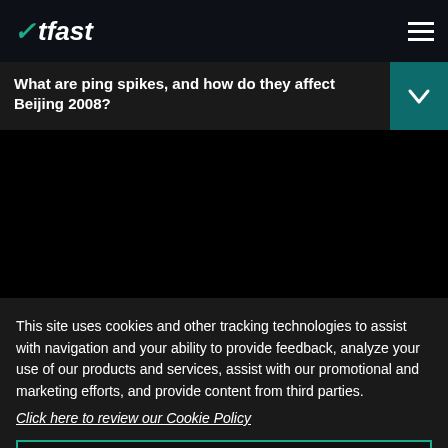WTFast
What are ping spikes, and how do they affect Beijing 2008?
[Figure (screenshot): Dark/black video player area]
This site uses cookies and other tracking technologies to assist with navigation and your ability to provide feedback, analyze your use of our products and services, assist with our promotional and marketing efforts, and provide content from third parties.
Click here to review our Cookie Policy
ACCEPT ALL
Accept mandatory and performance